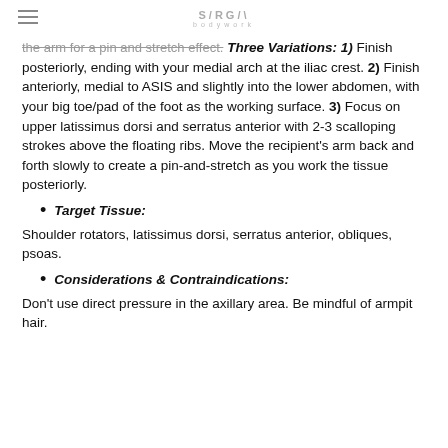SARGA bodywork
the arm for a pin and stretch effect. Three Variations: 1) Finish posteriorly, ending with your medial arch at the iliac crest. 2) Finish anteriorly, medial to ASIS and slightly into the lower abdomen, with your big toe/pad of the foot as the working surface. 3) Focus on upper latissimus dorsi and serratus anterior with 2-3 scalloping strokes above the floating ribs. Move the recipient's arm back and forth slowly to create a pin-and-stretch as you work the tissue posteriorly.
Target Tissue:
Shoulder rotators, latissimus dorsi, serratus anterior, obliques, psoas.
Considerations & Contraindications:
Don't use direct pressure in the axillary area. Be mindful of armpit hair.